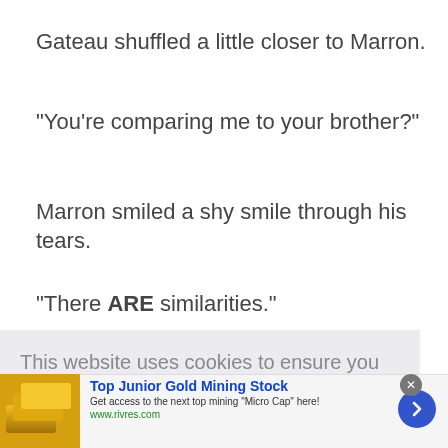Gateau shuffled a little closer to Marron.
"You're comparing me to your brother?"
Marron smiled a shy smile through his tears.
"There ARE similarities."
Gateau chuckled.
"You think so?"
[Figure (other): Cookie consent overlay with text: 'This website uses cookies to ensure you get the best experience on our website.' and a 'Learn more' link and a blue accept button]
[Figure (other): Advertisement banner for Top Junior Gold Mining Stock from www.rivres.com with gold bar image]